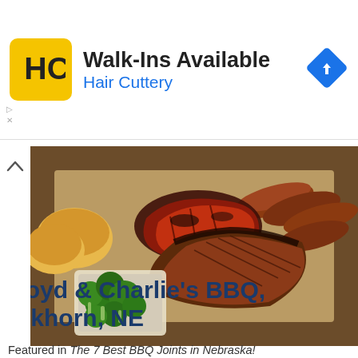[Figure (logo): Hair Cuttery advertisement banner with HC logo, 'Walk-Ins Available' headline, 'Hair Cuttery' subtext in blue, and blue diamond direction arrow on right]
[Figure (photo): Overhead view of BBQ food spread on brown butcher paper: sliced brisket, smoked sausage links, broccoli in a container, and bread rolls]
Boyd & Charlie's BBQ, Elkhorn, NE
Featured in The 7 Best BBQ Joints in Nebraska!